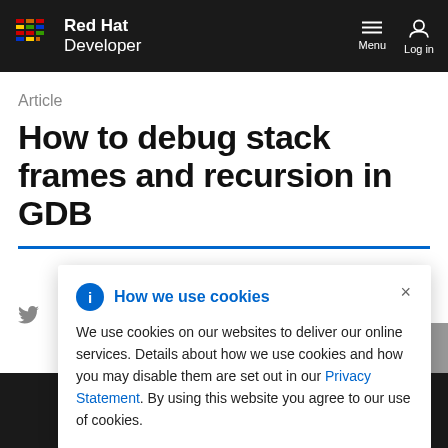Red Hat Developer
Article
How to debug stack frames and recursion in GDB
How we use cookies
We use cookies on our websites to deliver our online services. Details about how we use cookies and how you may disable them are set out in our Privacy Statement. By using this website you agree to our use of cookies.